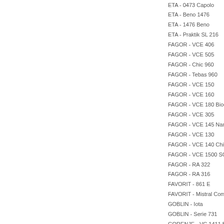ETA - 0473 Capolo
ETA - Beno 1476
ETA - 1476 Beno
ETA - Praktik SL 216
FAGOR - VCE 406
FAGOR - VCE 505
FAGOR - Chic 960
FAGOR - Tebas 960
FAGOR - VCE 150
FAGOR - VCE 160
FAGOR - VCE 180 Bioclean
FAGOR - VCE 305
FAGOR - VCE 145 Nano
FAGOR - VCE 130
FAGOR - VCE 140 Chic
FAGOR - VCE 1500 SC Mini
FAGOR - RA 322
FAGOR - RA 316
FAVORIT - 861 E
FAVORIT - Mistral Compact
GOBLIN - Iota
GOBLIN - Serie 731
GORENJE - VC 1411 B
GORENJE - Black Jack VCK
GORENJE - Asteroid VCK